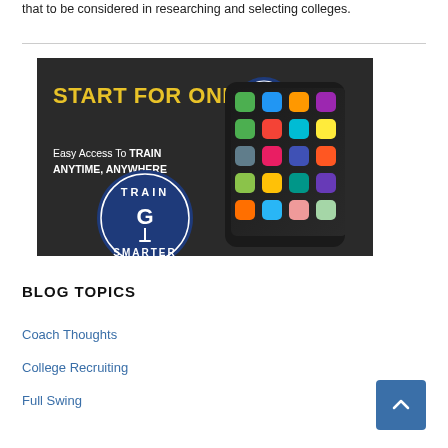that to be considered in researching and selecting colleges.
[Figure (photo): Advertisement image with dark background. Yellow bold text reads 'START FOR ONLY $1'. White text below says 'Easy Access To TRAIN ANYTIME, ANYWHERE'. A circular blue badge with 'TRAIN G SMARTER' text and golf tee logo is on the lower left. A hand holds a smartphone showing a grid of app icons on the right. A PGA LAB circular badge is visible on the phone screen area.]
BLOG TOPICS
Coach Thoughts
College Recruiting
Full Swing